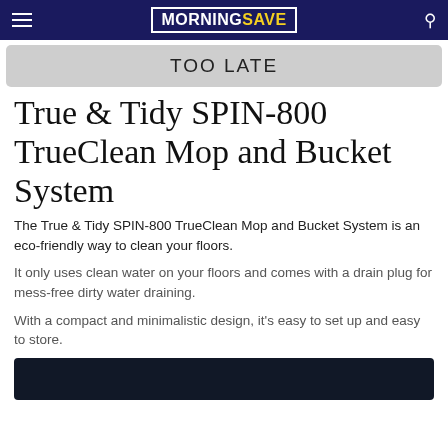MORNINGSAVE
TOO LATE
True & Tidy SPIN-800 TrueClean Mop and Bucket System
The True & Tidy SPIN-800 TrueClean Mop and Bucket System is an eco-friendly way to clean your floors.
It only uses clean water on your floors and comes with a drain plug for mess-free dirty water draining.
With a compact and minimalistic design, it's easy to set up and easy to store.
[Figure (screenshot): Dark video thumbnail at the bottom of the page]